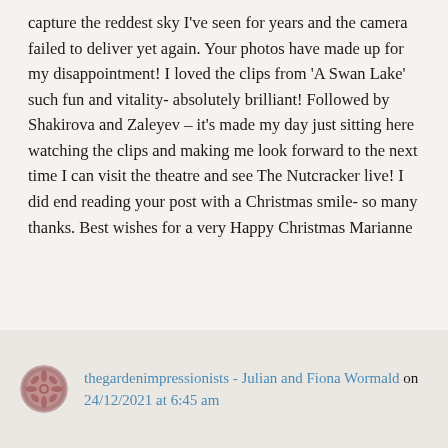capture the reddest sky I've seen for years and the camera failed to deliver yet again. Your photos have made up for my disappointment! I loved the clips from 'A Swan Lake' such fun and vitality- absolutely brilliant! Followed by Shakirova and Zaleyev – it's made my day just sitting here watching the clips and making me look forward to the next time I can visit the theatre and see The Nutcracker live! I did end reading your post with a Christmas smile- so many thanks. Best wishes for a very Happy Christmas Marianne
thegardenimpressionists - Julian and Fiona Wormald on 24/12/2021 at 6:45 am